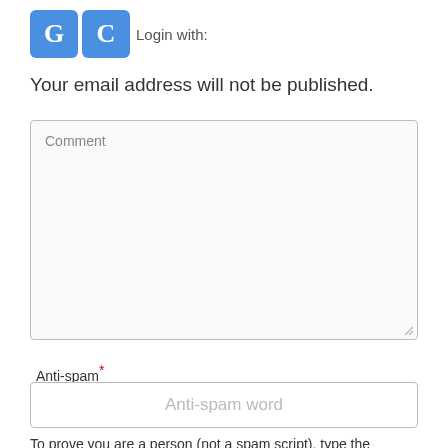[Figure (logo): Two blue square buttons with white letter G and C respectively, with 'Login with:' text label]
Your email address will not be published.
Comment
Anti-spam*
Anti-spam word
To prove you are a person (not a spam script), type the